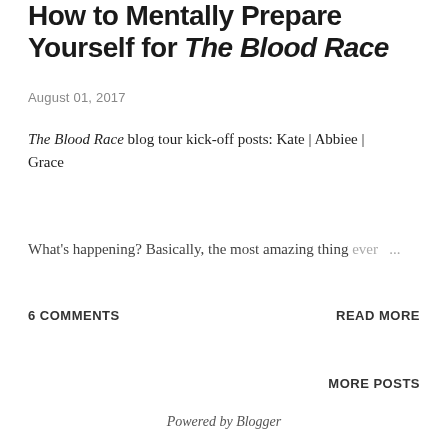How to Mentally Prepare Yourself for The Blood Race
August 01, 2017
The Blood Race blog tour kick-off posts: Kate | Abbiee | Grace
What's happening? Basically, the most amazing thing ever ...
6 COMMENTS
READ MORE
MORE POSTS
Powered by Blogger